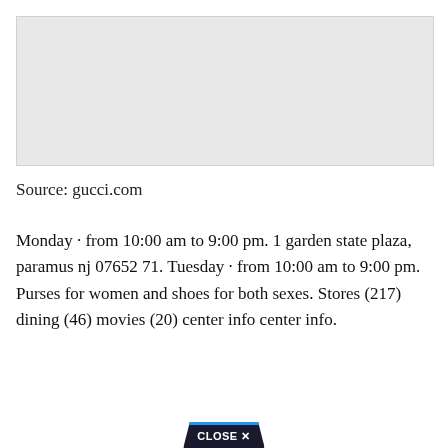[Figure (map): A light gray map placeholder area showing a geographical map region]
Source: gucci.com
Monday · from 10:00 am to 9:00 pm. 1 garden state plaza, paramus nj 07652 71. Tuesday · from 10:00 am to 9:00 pm. Purses for women and shoes for both sexes. Stores (217) dining (46) movies (20) center info center info.